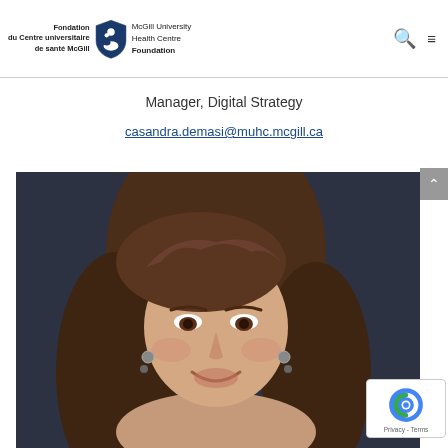Fondation du Centre universitaire de santé McGill / McGill University Health Centre Foundation
Manager, Digital Strategy
casandra.demasi@muhc.mcgill.ca
[Figure (photo): Portrait photo of a woman with long brown hair, smiling, wearing decorative earrings, against a dark background.]